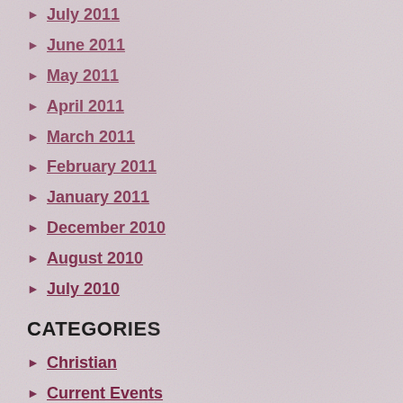July 2011
June 2011
May 2011
April 2011
March 2011
February 2011
January 2011
December 2010
August 2010
July 2010
CATEGORIES
Christian
Current Events
Family
Friends
Genealogy
Grandchildren
Health
History
Humor